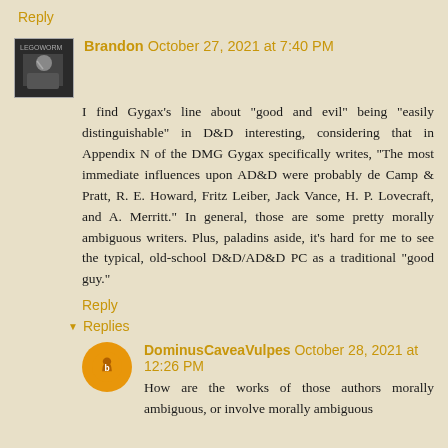Reply
Brandon October 27, 2021 at 7:40 PM
I find Gygax's line about "good and evil" being "easily distinguishable" in D&D interesting, considering that in Appendix N of the DMG Gygax specifically writes, "The most immediate influences upon AD&D were probably de Camp & Pratt, R. E. Howard, Fritz Leiber, Jack Vance, H. P. Lovecraft, and A. Merritt." In general, those are some pretty morally ambiguous writers. Plus, paladins aside, it's hard for me to see the typical, old-school D&D/AD&D PC as a traditional "good guy."
Reply
Replies
DominusCaveaVulpes October 28, 2021 at 12:26 PM
How are the works of those authors morally ambiguous, or involve morally ambiguous